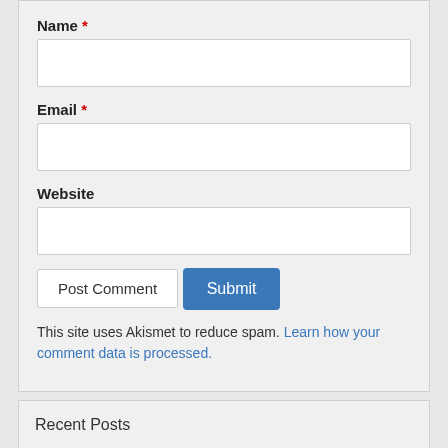Name *
[Figure (other): Empty text input field for Name]
Email *
[Figure (other): Empty text input field for Email]
Website
[Figure (other): Empty text input field for Website]
[Figure (other): Post Comment button]
[Figure (other): Submit button (blue)]
This site uses Akismet to reduce spam. Learn how your comment data is processed.
Recent Posts